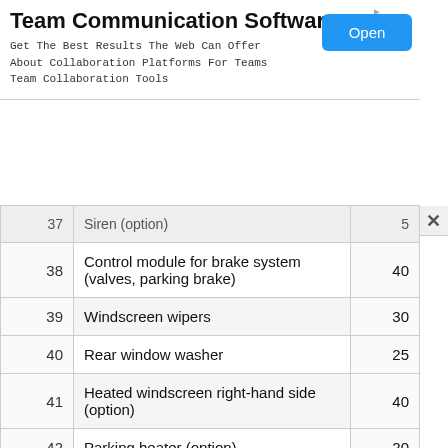[Figure (other): Advertisement banner for Team Communication Software with Open button]
| # | Description | Value |
| --- | --- | --- |
| 37 | Siren (option) | 5 |
| 38 | Control module for brake system (valves, parking brake) | 40 |
| 39 | Windscreen wipers | 30 |
| 40 | Rear window washer | 25 |
| 41 | Heated windscreen right-hand side (option) | 40 |
| 42 | Parking heater (option) | 20 |
| 43 | Control unit for brake system (ABS pump) | 40 |
| 44 | - | - |